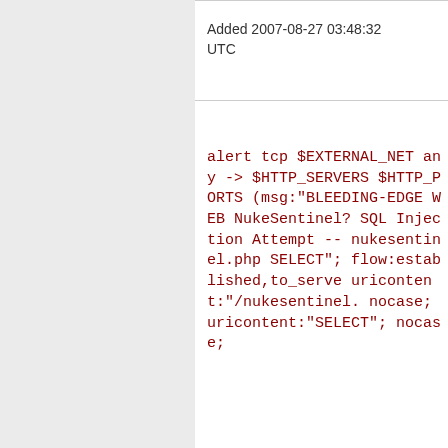Added 2007-08-27 03:48:32 UTC
alert tcp $EXTERNAL_NET any -> $HTTP_SERVERS $HTTP_PORTS (msg:"BLEEDING-EDGE WEB NukeSentinel? SQL Injection Attempt -- nukesentinel.php SELECT"; flow:established,to_serve uricontent:"/nukesentinel. nocase; uricontent:"SELECT"; nocase;